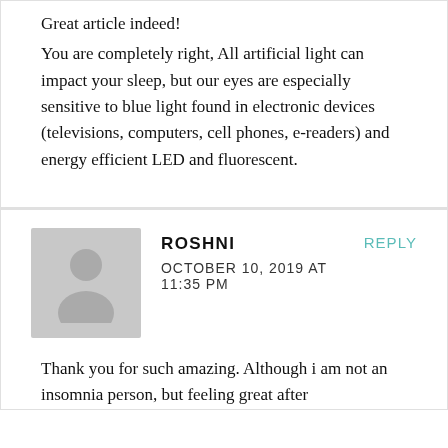Great article indeed!
You are completely right, All artificial light can impact your sleep, but our eyes are especially sensitive to blue light found in electronic devices (televisions, computers, cell phones, e-readers) and energy efficient LED and fluorescent.
[Figure (illustration): Gray avatar placeholder icon of a person silhouette]
ROSHNI
OCTOBER 10, 2019 AT 11:35 PM
REPLY
Thank you for such amazing. Although i am not an insomnia person, but feeling great after